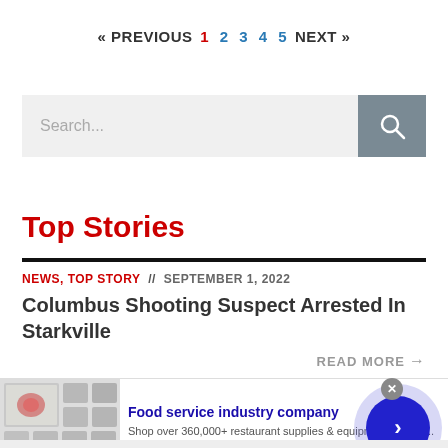« PREVIOUS  1  2  3  4  5  NEXT »
[Figure (screenshot): Search bar with text input and search button icon]
Top Stories
NEWS, TOP STORY // SEPTEMBER 1, 2022
Columbus Shooting Suspect Arrested In Starkville
READ MORE →
[Figure (infographic): Advertisement banner for Food service industry company - webstaurantstore.com. Shows product images of restaurant supplies. Text: Food service industry company. Shop over 360,000+ restaurant supplies & equipment produc... www.webstaurantstore.com]